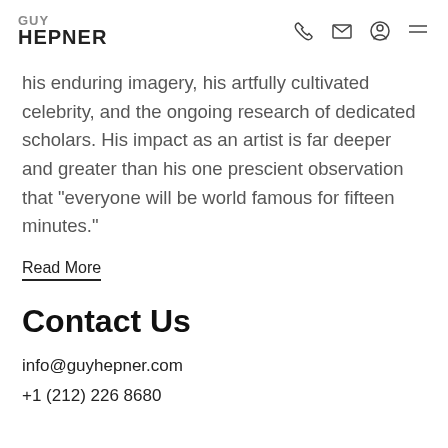GUY HEPNER
his enduring imagery, his artfully cultivated celebrity, and the ongoing research of dedicated scholars. His impact as an artist is far deeper and greater than his one prescient observation that “everyone will be world famous for fifteen minutes.”
Read More
Contact Us
info@guyhepner.com
+1 (212) 226 8680